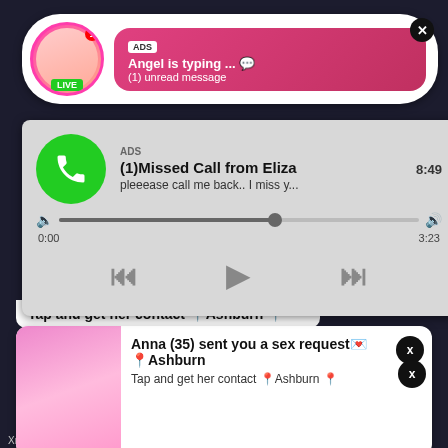[Figure (screenshot): Dark background of a video streaming page]
ADS
Angel is typing ... 💬
(1) unread message
LIVE
ADS
(1)Missed Call from Eliza
pleeease call me back.. I miss y...
0:00  3:23
Tap and get her contact 📍Ashburn 📍
Anna (35) sent you a sex request💌
📍Ashburn
Tap and get her contact 📍Ashburn 📍
Xnxx Tube is the place where you can find best free...